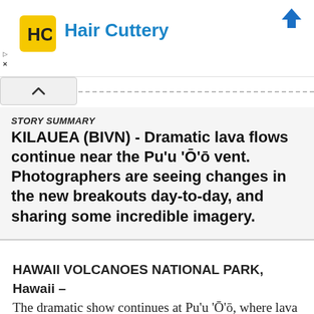[Figure (logo): Hair Cuttery advertisement banner with yellow HC logo on left, Hair Cuttery text in blue, and blue arrow icon on right. Small 'D>' and 'x' text at bottom left.]
STORY SUMMARY
KILAUEA (BIVN) - Dramatic lava flows continue near the Pu'u 'Ō'ō vent. Photographers are seeing changes in the new breakouts day-to-day, and sharing some incredible imagery.
HAWAII VOLCANOES NATIONAL PARK, Hawaii – The dramatic show continues at Pu'u 'Ō'ō, where lava flows continue to issue down the flanks of the volcanic vent in long channels